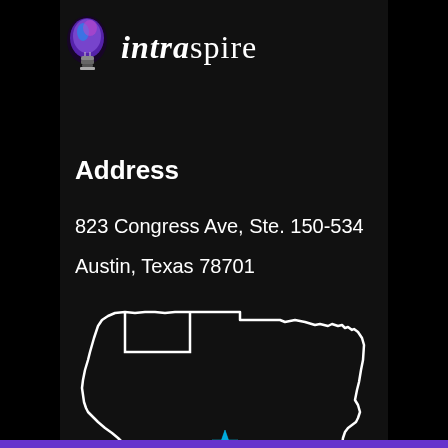[Figure (logo): Intraspire logo with lightbulb icon and stylized text 'intraspire']
Address
823 Congress Ave, Ste. 150-534
Austin, Texas 78701
[Figure (map): Outline map of Texas with a cyan star marking Austin]